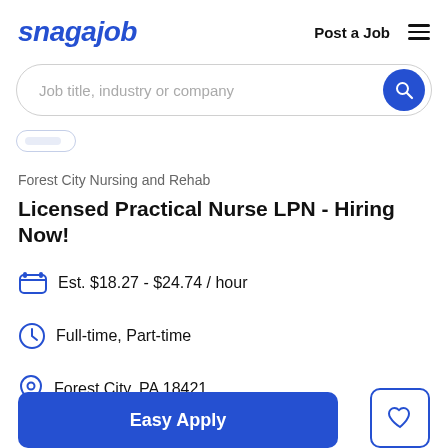snagajob  Post a Job
Job title, industry or company
Forest City Nursing and Rehab
Licensed Practical Nurse LPN - Hiring Now!
Est. $18.27 - $24.74 / hour
Full-time, Part-time
Forest City, PA 18421
Easy Apply